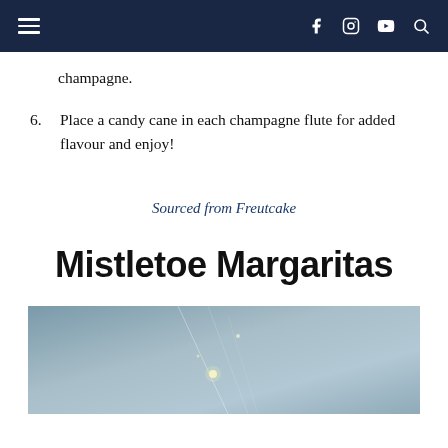Navigation bar with hamburger menu and social icons (Facebook, Instagram, YouTube, Search)
champagne.
6. Place a candy cane in each champagne flute for added flavour and enjoy!
Sourced from Freutcake
Mistletoe Margaritas
[Figure (photo): Close-up photo of mistletoe or holiday decorations with bokeh light streaks against a blue-grey background]